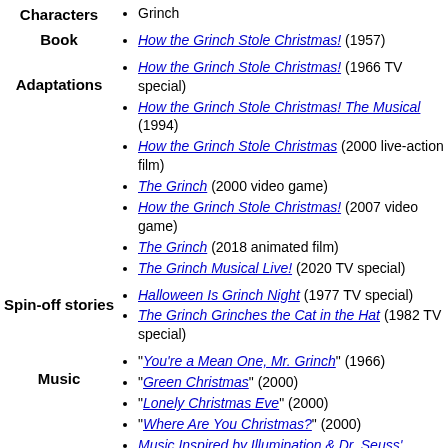Characters: Grinch
Book: How the Grinch Stole Christmas! (1957)
Adaptations: How the Grinch Stole Christmas! (1966 TV special)
Adaptations: How the Grinch Stole Christmas! The Musical (1994)
Adaptations: How the Grinch Stole Christmas (2000 live-action film)
Adaptations: The Grinch (2000 video game)
Adaptations: How the Grinch Stole Christmas! (2007 video game)
Adaptations: The Grinch (2018 animated film)
Adaptations: The Grinch Musical Live! (2020 TV special)
Spin-off stories: Halloween Is Grinch Night (1977 TV special)
Spin-off stories: The Grinch Grinches the Cat in the Hat (1982 TV special)
Music: "You're a Mean One, Mr. Grinch" (1966)
Music: "Green Christmas" (2000)
Music: "Lonely Christmas Eve" (2000)
Music: "Where Are You Christmas?" (2000)
Music: Music Inspired by Illumination & Dr. Seuss'